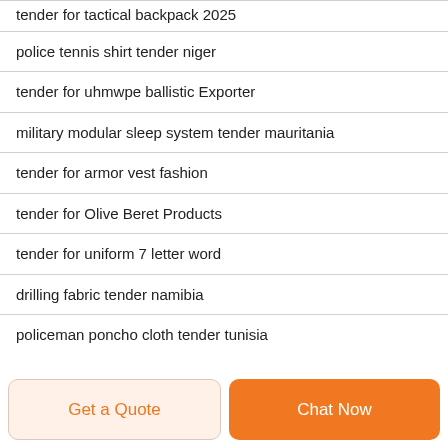tender for tactical backpack 2025
police tennis shirt tender niger
tender for uhmwpe ballistic Exporter
military modular sleep system tender mauritania
tender for armor vest fashion
tender for Olive Beret Products
tender for uniform 7 letter word
drilling fabric tender namibia
policeman poncho cloth tender tunisia